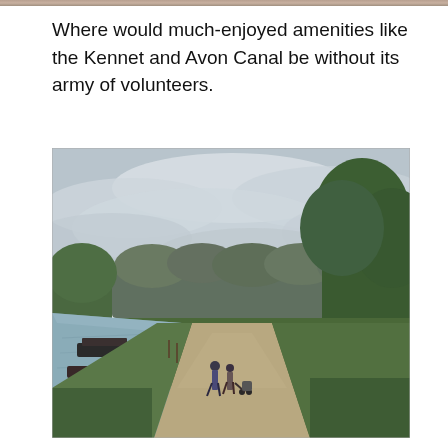Where would much-enjoyed amenities like the Kennet and Avon Canal be without its army of volunteers.
[Figure (photo): Photograph of the Kennet and Avon Canal towpath showing two people walking away from the camera along a gravel path, with the canal and boats visible to the left, green trees and vegetation on both sides, and an overcast cloudy sky above.]